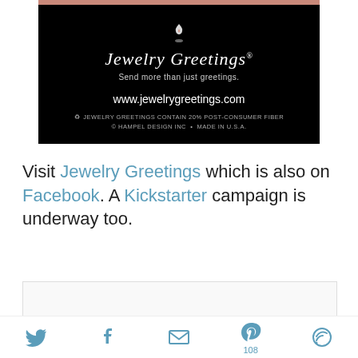[Figure (photo): Jewelry Greetings brand banner on black background with logo, tagline 'Send more than just greetings.', website www.jewelrygreetings.com, recycling note, and copyright line. Top has a salmon/rose colored bar.]
Visit Jewelry Greetings which is also on Facebook. A Kickstarter campaign is underway too.
[Figure (other): Empty white/light gray content box with border]
Social sharing icons: Twitter, Facebook, Email, Pinterest (108), unknown icon